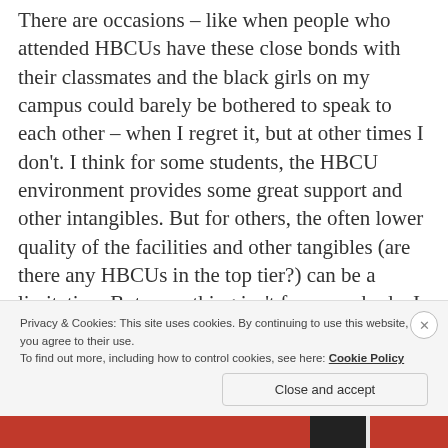There are occasions – like when people who attended HBCUs have these close bonds with their classmates and the black girls on my campus could barely be bothered to speak to each other – when I regret it, but at other times I don't. I think for some students, the HBCU environment provides some great support and other intangibles. But for others, the often lower quality of the facilities and other tangibles (are there any HBCUs in the top tier?) can be a limitation. But everything isn't for every body. I was lucky, I suppose, my PWI had several blacks and women in higher levels of administration and a great
Privacy & Cookies: This site uses cookies. By continuing to use this website, you agree to their use.
To find out more, including how to control cookies, see here: Cookie Policy
Close and accept